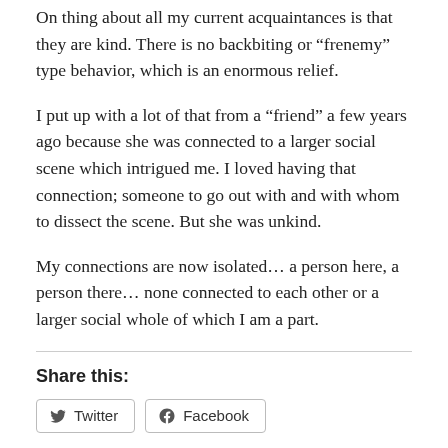On thing about all my current acquaintances is that they are kind. There is no backbiting or “frenemy” type behavior, which is an enormous relief.
I put up with a lot of that from a “friend” a few years ago because she was connected to a larger social scene which intrigued me. I loved having that connection; someone to go out with and with whom to dissect the scene. But she was unkind.
My connections are now isolated… a person here, a person there… none connected to each other or a larger social whole of which I am a part.
Share this:
Twitter  Facebook